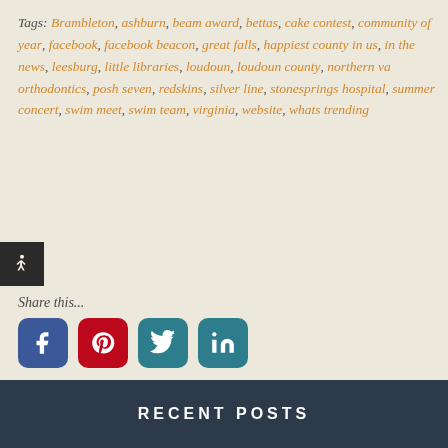Tags: Brambleton, ashburn, beam award, bettas, cake contest, community of year, facebook, facebook beacon, great falls, happiest county in us, in the news, leesburg, little libraries, loudoun, loudoun county, northern va orthodontics, posh seven, redskins, silver line, stonesprings hospital, summer concert, swim meet, swim team, virginia, website, whats trending
[Figure (infographic): Accessibility icon - white person figure on black square background]
Share this...
[Figure (infographic): Social media share buttons: Facebook (blue), Pinterest (red), Twitter (teal), LinkedIn (teal)]
Previous Post
Next Post
RECENT POSTS